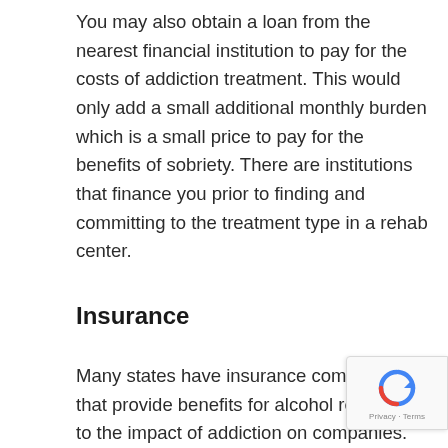You may also obtain a loan from the nearest financial institution to pay for the costs of addiction treatment. This would only add a small additional monthly burden which is a small price to pay for the benefits of sobriety. There are institutions that finance you prior to finding and committing to the treatment type in a rehab center.
Insurance
Many states have insurance companies that provide benefits for alcohol rehab due to the impact of addiction on companies. Since insurance policies may vary from state to state significantly, it is necessary for you to list your benefits before you begin the process of recovery